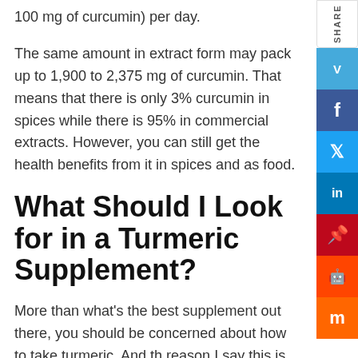100 mg of curcumin) per day.
The same amount in extract form may pack up to 1,900 to 2,375 mg of curcumin. That means that there is only 3% curcumin in spices while there is 95% in commercial extracts. However, you can still get the health benefits from it in spices and as food.
What Should I Look for in a Turmeric Supplement?
More than what's the best supplement out there, you should be concerned about how to take turmeric. And the reason I say this is because there are countless products on the market. The best advice at the moment would be to check labels.
Based on the recommended dosage above, read the nutrition labels to ensure that these supplements have